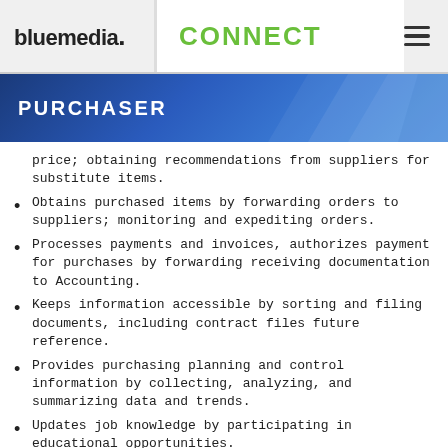bluemedia. CONNECT
PURCHASER
price; obtaining recommendations from suppliers for substitute items.
Obtains purchased items by forwarding orders to suppliers; monitoring and expediting orders.
Processes payments and invoices, authorizes payment for purchases by forwarding receiving documentation to Accounting.
Keeps information accessible by sorting and filing documents, including contract files future reference.
Provides purchasing planning and control information by collecting, analyzing, and summarizing data and trends.
Updates job knowledge by participating in educational opportunities.
Accomplishes purchasing and company mission by completing related results as needed.
Forecasts levels of demand for services and products to meet business needs and keeping a constant check on